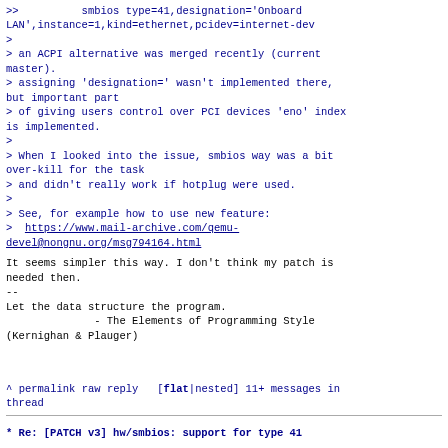>> smbios type=41,designation='Onboard LAN',instance=1,kind=ethernet,pcidev=internet-dev
>
> an ACPI alternative was merged recently (current master).
> assigning 'designation=' wasn't implemented there, but important part
> of giving users control over PCI devices 'eno' index is implemented.
>
> When I looked into the issue, smbios way was a bit over-kill for the task
> and didn't really work if hotplug were used.
>
> See, for example how to use new feature:
>  https://www.mail-archive.com/qemu-devel@nongnu.org/msg794164.html
It seems simpler this way. I don't think my patch is needed then.
--
Let the data structure the program.
              - The Elements of Programming Style
(Kernighan & Plauger)
^ permalink raw reply   [flat|nested] 11+ messages in thread
* Re: [PATCH v3] hw/smbios: support for type 41